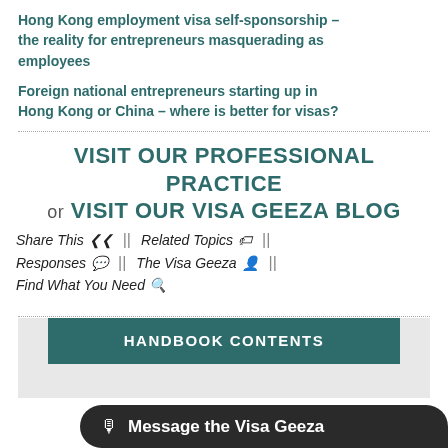Hong Kong employment visa self-sponsorship – the reality for entrepreneurs masquerading as employees
Foreign national entrepreneurs starting up in Hong Kong or China – where is better for visas?
VISIT OUR PROFESSIONAL PRACTICE or VISIT OUR VISA GEEZA BLOG
Share This  ||  Related Topics  ||
Responses  ||  The Visa Geeza  ||
Find What You Need
HANDBOOK CONTENTS
Message the Visa Geeza